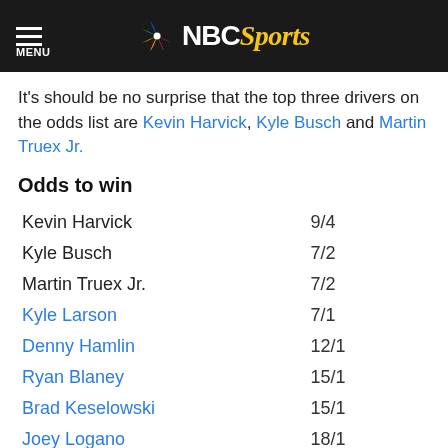NBC Sports
It's should be no surprise that the top three drivers on the odds list are Kevin Harvick, Kyle Busch and Martin Truex Jr.
Odds to win
| Driver | Odds |
| --- | --- |
| Kevin Harvick | 9/4 |
| Kyle Busch | 7/2 |
| Martin Truex Jr. | 7/2 |
| Kyle Larson | 7/1 |
| Denny Hamlin | 12/1 |
| Ryan Blaney | 15/1 |
| Brad Keselowski | 15/1 |
| Joey Logano | 18/1 |
| Erik Jones | 20/1 |
| Kurt Busch | 20/1 |